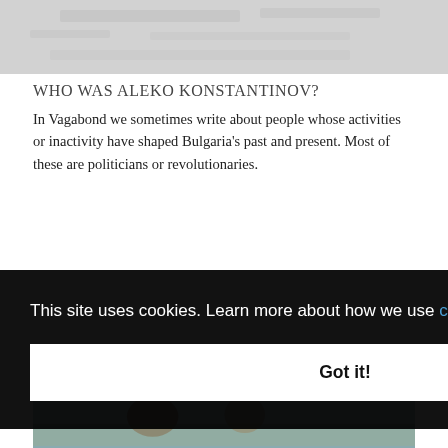[Figure (photo): Partial photo visible at top of page, muted grey tones]
WHO WAS ALEKO KONSTANTINOV?
In Vagabond we sometimes write about people whose activities or inactivity have shaped Bulgaria's past and present. Most of these are politicians or revolutionaries.
[Figure (photo): Outdoor photo showing bronze busts/statues among bare trees with light blue sky]
This site uses cookies. Learn more about how we use cookies and our privacy policy.
Got it!